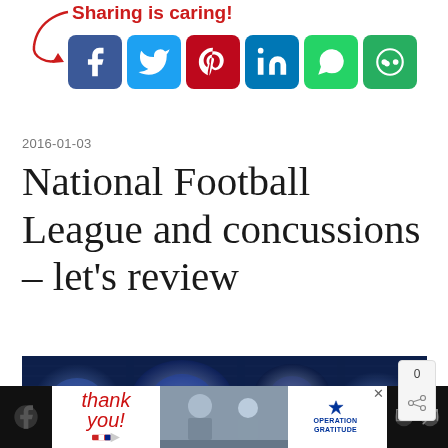[Figure (infographic): Sharing is caring! social sharing buttons: Facebook (blue), Twitter (light blue), Pinterest (red), LinkedIn (blue), WhatsApp (green), More (green), with red arrow pointing to icons]
2016-01-03
National Football League and concussions – let's review
[Figure (photo): Brain MRI/CT scan images lit with blue tones, showing multiple brain scans spread across the image]
[Figure (infographic): Advertisement banner: Thank you! with patriotic pencil illustration, soldiers photo, Operation Gratitude logo]